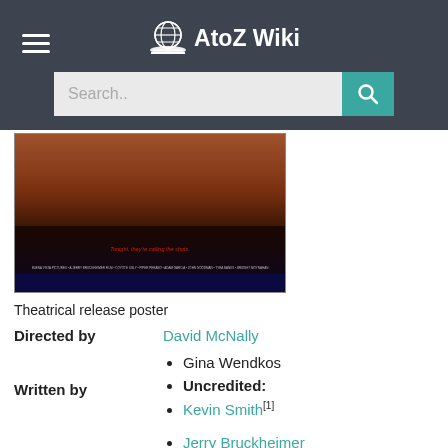AtoZ Wiki
[Figure (photo): Theatrical release poster showing two people at a table, with movie credits text at the bottom]
Theatrical release poster
| Directed by | David McNally |
| Written by | Gina Wendkos
Uncredited:
Kevin Smith[1] |
| Produced by | Jerry Bruckheimer
Chad Oman |